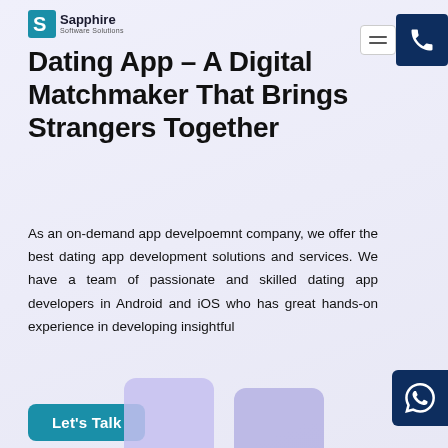Sapphire Dating App Solutions
Dating App – A Digital Matchmaker That Brings Strangers Together
As an on-demand app develpoemnt company, we offer the best dating app development solutions and services. We have a team of passionate and skilled dating app developers in Android and iOS who has great hands-on experience in developing insightful
Let's Talk
[Figure (illustration): Two smartphone mockups at the bottom of the page, one purple/lavender and one darker purple, partially cropped]